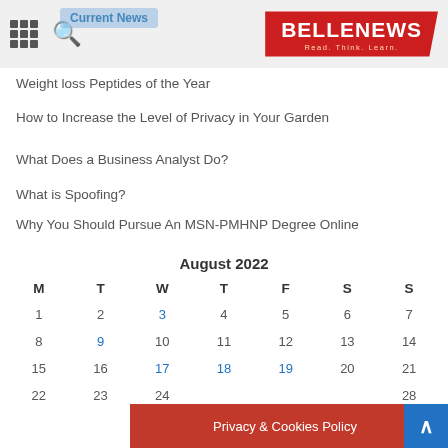BELLENEWS - Read. Think. Learn.
Weight loss Peptides of the Year
How to Increase the Level of Privacy in Your Garden
What Does a Business Analyst Do?
What is Spoofing?
Why You Should Pursue An MSN-PMHNP Degree Online
| M | T | W | T | F | S | S |
| --- | --- | --- | --- | --- | --- | --- |
| 1 | 2 | 3 | 4 | 5 | 6 | 7 |
| 8 | 9 | 10 | 11 | 12 | 13 | 14 |
| 15 | 16 | 17 | 18 | 19 | 20 | 21 |
| 22 | 23 | 24 |  |  |  | 28 |
Privacy & Cookies Policy